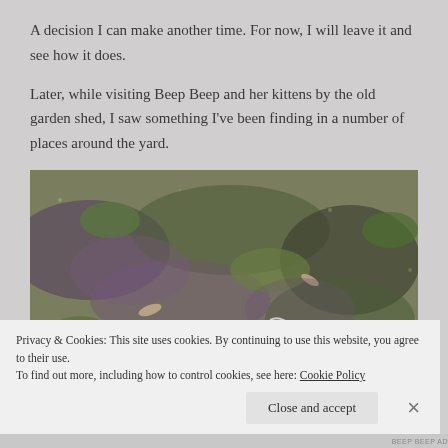A decision I can make another time.  For now, I will leave it and see how it does.
Later, while visiting Beep Beep and her kittens by the old garden shed, I saw something I've been finding in a number of places around the yard.
[Figure (photo): Photograph of ground/garden area showing low-growing plants, moss, and leaf litter with purple-green hues.]
Privacy & Cookies: This site uses cookies. By continuing to use this website, you agree to their use.
To find out more, including how to control cookies, see here: Cookie Policy
Close and accept